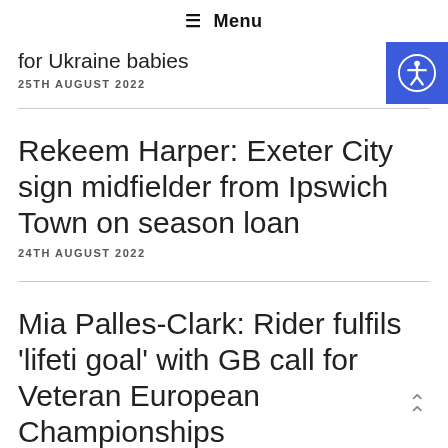☰ Menu
for Ukraine babies
25TH AUGUST 2022
Rekeem Harper: Exeter City sign midfielder from Ipswich Town on season loan
24TH AUGUST 2022
Mia Palles-Clark: Rider fulfils 'lifeti goal' with GB call for Veteran European Championships